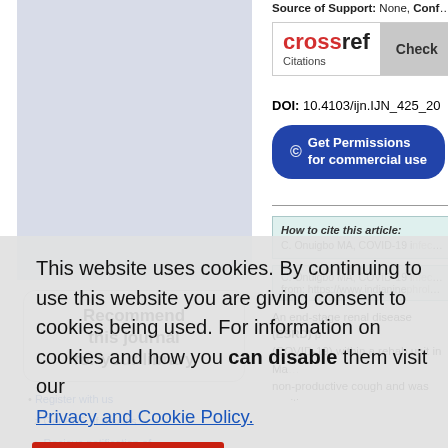[Figure (photo): Light blue/gray placeholder image area in the left column]
Recommend this journal for your library
Source of Support: None, Conflict of Inte...
[Figure (logo): CrossRef Citations Check button/badge]
DOI: 10.4103/ijn.IJN_425_20
[Figure (other): Get Permissions for commercial use button]
How to cite this article:
C. Onuigbo MA, COVID-19 infection re...
C. Onuigbo MA, COVID-19 infection re... from: https://www.indianjnephrol.org/...
An end-stage renal disease (ESRD) p... (COVID-19) within a rehab unit in Ma... non-productive cough and was positi... Treatment included hydroxychloroqui... was discharged after 24 days to an is...
This website uses cookies. By continuing to use this website you are giving consent to cookies being used. For information on cookies and how you can disable them visit our Privacy and Cookie Policy.
AGREE & PROCEED